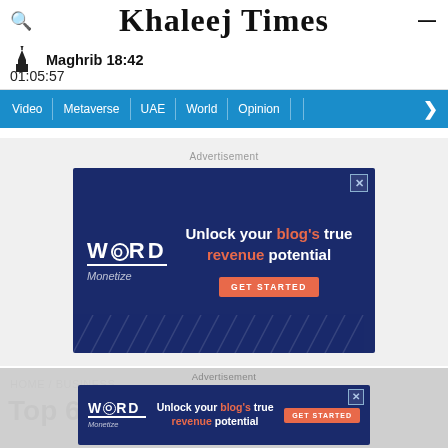Khaleej Times — Maghrib 18:42 — 01:05:57
Video | Metaverse | UAE | World | Opinion | >
Advertisement
[Figure (screenshot): Word Monetize advertisement banner: 'Unlock your blog's true revenue potential — GET STARTED' on dark blue background]
HOME / BUSINESS
Top 6 financial resolutions
Advertisement
[Figure (screenshot): Word Monetize advertisement banner bottom: 'Unlock your blog's true revenue potential — GET STARTED' on dark blue background]